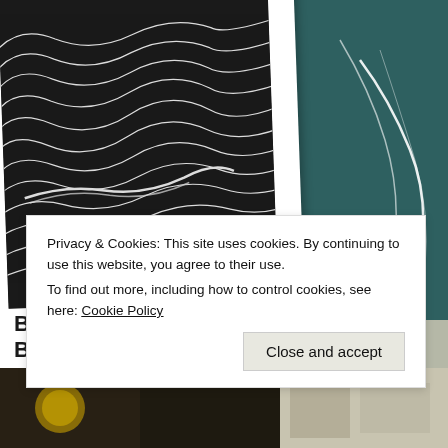[Figure (illustration): Polaroid-style photo frame containing abstract wavy contour lines artwork in white on dark background]
BLACK & WHITE & BLACK...
Originally posted on beyond art and architecture: beyond art and architecture View original post
[Figure (illustration): Partial teal/dark green artwork panel on right side showing white curved lines on dark teal background]
DREAM COM
Originally posted on beyond art and arc
[Figure (photo): Bottom left dark image, partial view]
[Figure (photo): Bottom right light image, partial view]
Privacy & Cookies: This site uses cookies. By continuing to use this website, you agree to their use.
To find out more, including how to control cookies, see here: Cookie Policy
Close and accept